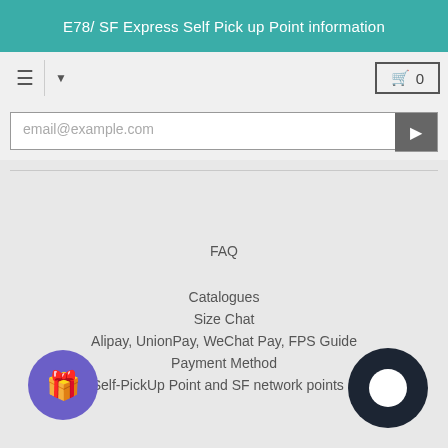E78/ SF Express Self Pick up Point information
[Figure (screenshot): Navigation bar with hamburger menu icon, dropdown arrow, and shopping cart button showing 0 items]
[Figure (screenshot): Search input field with placeholder 'email@example.com' and a dark search button]
FAQ
Catalogues
Size Chat
Alipay, UnionPay, WeChat Pay, FPS Guide
Payment Method
E78 Self-PickUp Point and SF network points Guide